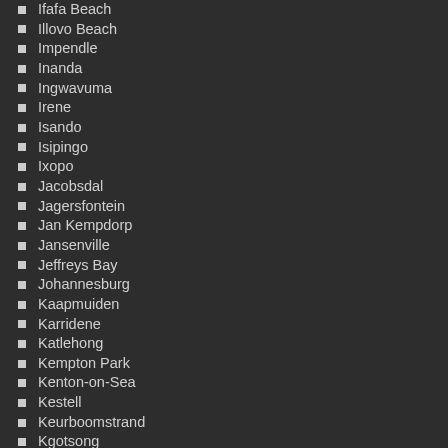Ifafa Beach
Illovo Beach
Impendle
Inanda
Ingwavuma
Irene
Isando
Isipingo
Ixopo
Jacobsdal
Jagersfontein
Jan Kempdorp
Jansenville
Jeffreys Bay
Johannesburg
Kaapmuiden
Karridene
Katlehong
Kempton Park
Kenton-on-Sea
Kestell
Keurboomstrand
Kgotsong
Khayelitsha
Kimberley
King William's Town
Kingsburgh
Kinross